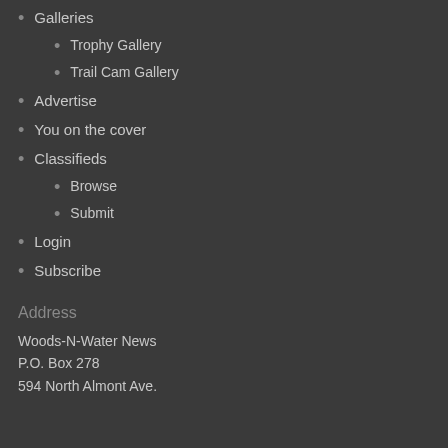Galleries
Trophy Gallery
Trail Cam Gallery
Advertise
You on the cover
Classifieds
Browse
Submit
Login
Subscribe
Address
Woods-N-Water News
P.O. Box 278
594 North Almont Ave.